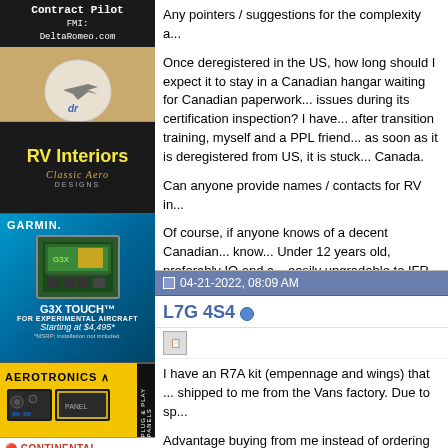[Figure (photo): Contract Pilot advertisement with guitar pick and DeltaRomeo.com branding]
[Figure (photo): RV Interiors - Classic Aero Designs advertisement with dark background and yellow text]
[Figure (photo): Garmin G3X Touch advertisement for experimental aircraft, starting at $4,495]
[Figure (photo): Aerotronics plug and play panels advertisement]
[Figure (photo): Continental - It's high time for a fresh start advertisement]
Any pointers / suggestions for the complexity a...
Once deregistered in the US, how long should I expect it to stay in a Canadian hangar waiting for Canadian paperwork... issues during its certification inspection? I have... after transition training, myself and a PPL friend... as soon as it is deregistered from US, it is stuck... Canada.
Can anyone provide names / contacts for RV in...
Of course, if anyone knows of a decent Canadian... know... Under 12 years old, preferably IO and c... easily upgradable to IFR or priced so that I can... even consider a 90 - 95 percent completed Car...
Thanks
04-21-2022, 08:09 AM
L7G 4S4
I have an R7A kit (empennage and wings) that... shipped to me from the Vans factory. Due to sp...
Advantage buying from me instead of ordering...